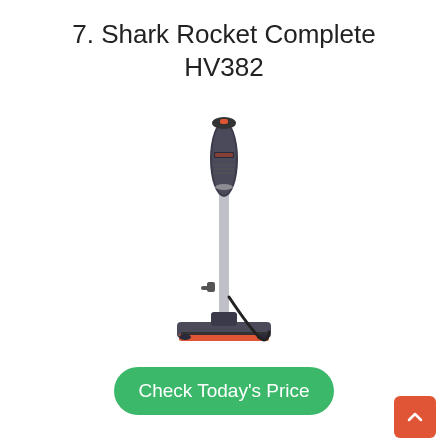7. Shark Rocket Complete HV382
[Figure (photo): Shark Rocket Complete HV382 stick vacuum cleaner standing upright, showing the full-length wand with motor head unit at top and motorized floor brush/base at bottom, dark grey and orange color scheme with power cord visible]
Check Today's Price